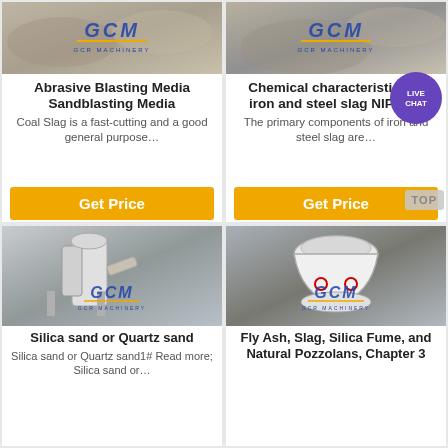[Figure (photo): GCM Machinery logo over dusty quarry/sandblasting site photo]
Abrasive Blasting Media Sandblasting Media
Coal Slag is a fast-cutting and a good general purpose…
Get Price
[Figure (photo): GCM Machinery logo over iron/steel slag site photo]
Chemical characteristics of iron and steel slag NIPPON
The primary components of iron and steel slag are…
Get Price
[Figure (photo): GCM Machinery industrial grinding mill machine photo]
Silica sand or Quartz sand
Silica sand or Quartz sand1# Read more; Silica sand or…
[Figure (photo): GCM Machinery cone crusher machine photo]
Fly Ash, Slag, Silica Fume, and Natural Pozzolans, Chapter 3